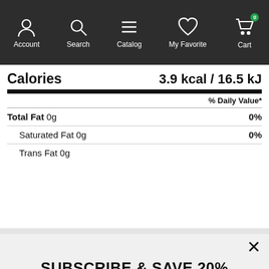Account | Search | Catalog | My Favorite | Cart
| Calories | 3.9 kcal / 16.5 kJ |
| % Daily Value* |  |
| Total Fat 0g | 0% |
| Saturated Fat 0g | 0% |
| Trans Fat 0g |  |
SUBSCRIBE & SAVE 20%
Subscribe Now to save 20% on your first order & take a chance to receive bigger discounts with our future promotions. Your first coupon code will be emailed instantly.
Enter e-mail address | SUBSCRIBE
DESCRIPTION